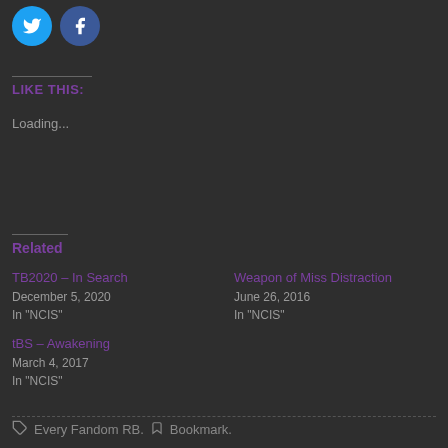[Figure (illustration): Two social share buttons: Twitter (blue circle with bird icon) and Facebook (blue circle with f icon)]
LIKE THIS:
Loading...
Related
TB2020 – In Search
December 5, 2020
In "NCIS"
Weapon of Miss Distraction
June 26, 2016
In "NCIS"
tBS – Awakening
March 4, 2017
In "NCIS"
Every Fandom RB.   Bookmark.